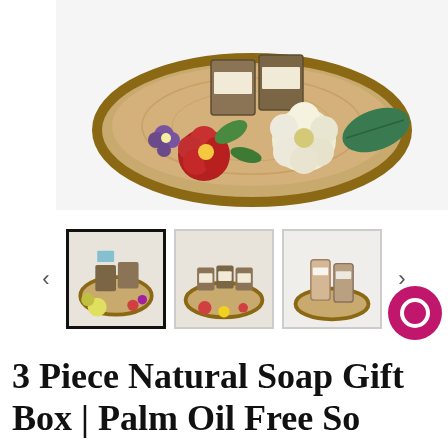[Figure (photo): Main product photo: natural soap bars arranged on a wooden slice with colorful flowers (red, purple, white/cream) and a green leaf on a white background]
[Figure (photo): Thumbnail 1 (selected): soap bars on wooden slice with blue ribbon and flowers]
[Figure (photo): Thumbnail 2: soap bars in kraft boxes on wooden slice with small red and yellow flowers]
[Figure (photo): Thumbnail 3: two soap bars standing upright on wooden slice]
3 Piece Natural Soap Gift Box | Palm Oil Free Soap Bars | Set Of Three